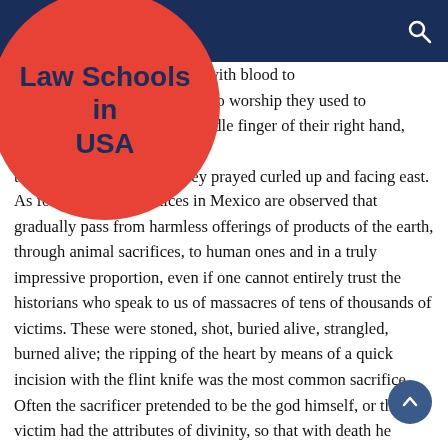Law Schools in USA
...with blood to ingratiate...worship they used to touch the ground with the middle finger of their right hand, bringing the dust to their mouths; they prayed curled up and facing east.
As for sacrifices, practices in Mexico are observed that gradually pass from harmless offerings of products of the earth, through animal sacrifices, to human ones and in a truly impressive proportion, even if one cannot entirely trust the historians who speak to us of massacres of tens of thousands of victims. These were stoned, shot, buried alive, strangled, burned alive; the ripping of the heart by means of a quick incision with the flint knife was the most common sacrifice. Often the sacrificer pretended to be the god himself, or the victim had the attributes of divinity, so that with death he would incorporate and identify with the god himself; it was commonly admitted to thank the god by sacrificing him prisoners and offering him their noblest part